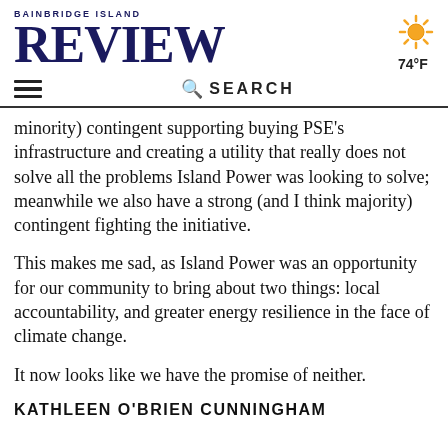BAINBRIDGE ISLAND REVIEW
[Figure (illustration): Sun weather icon with temperature 74°F]
minority) contingent supporting buying PSE's infrastructure and creating a utility that really does not solve all the problems Island Power was looking to solve; meanwhile we also have a strong (and I think majority) contingent fighting the initiative.
This makes me sad, as Island Power was an opportunity for our community to bring about two things: local accountability, and greater energy resilience in the face of climate change.
It now looks like we have the promise of neither.
KATHLEEN O'BRIEN CUNNINGHAM